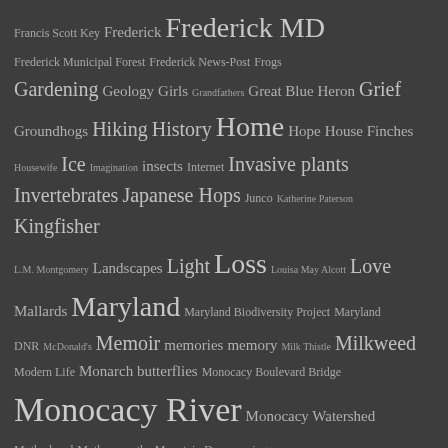[Figure (other): A tag cloud on a dark gray background showing various blog/website tags in different font sizes indicating frequency. Tags include Frederick MD, Nature, Monocacy River, Parenting, and many others.]